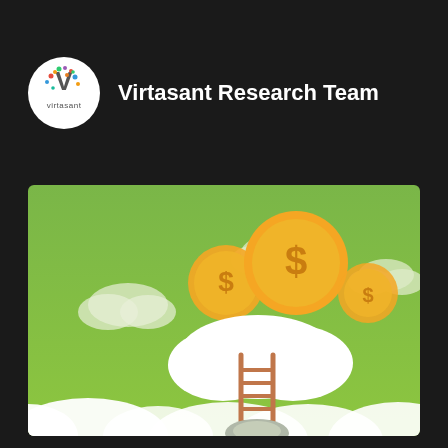[Figure (logo): Virtasant logo in white circle with colorful V letters and 'virtasant' text below]
Virtasant Research Team
[Figure (illustration): Green sky illustration with white clouds, three golden dollar-sign coins on a cloud in the upper center-right, and a wooden ladder climbing up from the ground through clouds into the sky]